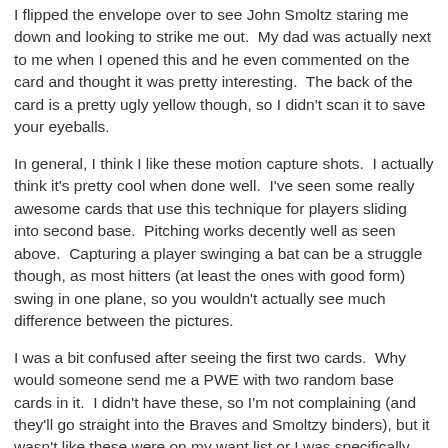I flipped the envelope over to see John Smoltz staring me down and looking to strike me out.  My dad was actually next to me when I opened this and he even commented on the card and thought it was pretty interesting.  The back of the card is a pretty ugly yellow though, so I didn't scan it to save your eyeballs.
In general, I think I like these motion capture shots.  I actually think it's pretty cool when done well.  I've seen some really awesome cards that use this technique for players sliding into second base.  Pitching works decently well as seen above.  Capturing a player swinging a bat can be a struggle though, as most hitters (at least the ones with good form) swing in one plane, so you wouldn't actually see much difference between the pictures.
I was a bit confused after seeing the first two cards.  Why would someone send me a PWE with two random base cards in it.  I didn't have these, so I'm not complaining (and they'll go straight into the Braves and Smoltzy binders), but it wasn't like these were on my want list or I was specifically looking for them.